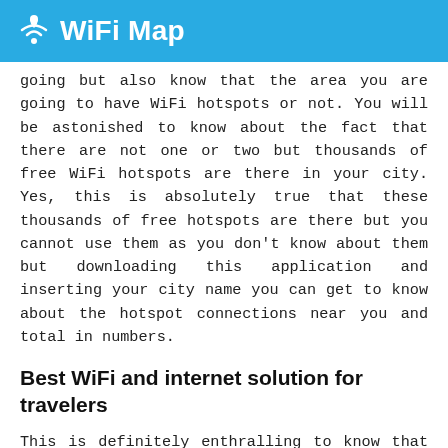WiFi Map
going but also know that the area you are going to have WiFi hotspots or not. You will be astonished to know about the fact that there are not one or two but thousands of free WiFi hotspots are there in your city. Yes, this is absolutely true that these thousands of free hotspots are there but you cannot use them as you don't know about them but downloading this application and inserting your city name you can get to know about the hotspot connections near you and total in numbers.
Best WiFi and internet solution for travelers
This is definitely enthralling to know that there are many WiFi connections near you and you can use them freely. This is best for travelers, when you are traveling you do not have to worry about the WiFi connections and paying for a lot amount of money on simply WiFi